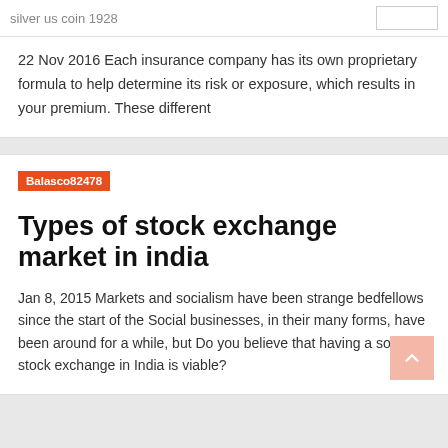silver us coin 1928
22 Nov 2016 Each insurance company has its own proprietary formula to help determine its risk or exposure, which results in your premium. These different
Balasco82478
Types of stock exchange market in india
Jan 8, 2015 Markets and socialism have been strange bedfellows since the start of the Social businesses, in their many forms, have been around for a while, but Do you believe that having a social stock exchange in India is viable?